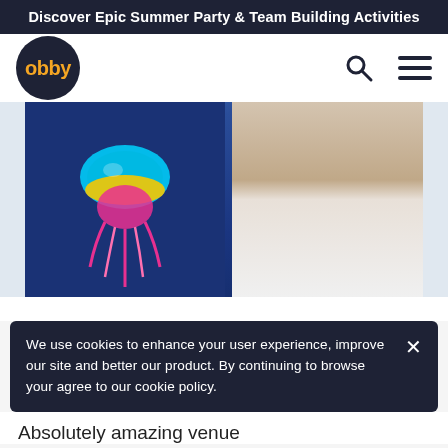Discover Epic Summer Party & Team Building Activities
[Figure (logo): Obby logo — dark navy circle with orange 'obby' text]
[Figure (photo): A smiling woman in a paint-stained apron holding up a colorful jellyfish painting on a dark blue background]
We use cookies to enhance your user experience, improve our site and better our product. By continuing to browse your agree to our cookie policy.
Absolutely amazing venue